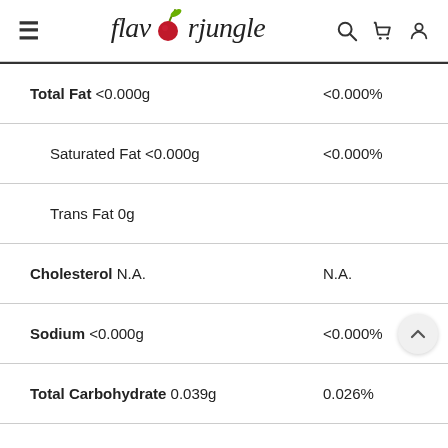flavorjungle
| Nutrient | Amount | % Daily Value |
| --- | --- | --- |
| Total Fat | <0.000g | <0.000% |
| Saturated Fat | <0.000g | <0.000% |
| Trans Fat | 0g |  |
| Cholesterol | N.A. | N.A. |
| Sodium | <0.000g | <0.000% |
| Total Carbohydrate | 0.039g | 0.026% |
| Dietary Fiber | <0.000g | <0.000% |